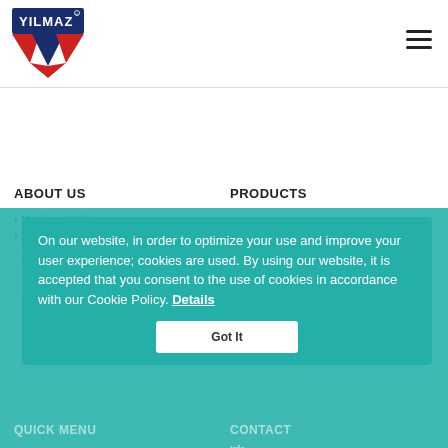[Figure (logo): YILMAZ company logo — red and dark blue chevron V shape with YILMAZ text]
ABOUT US
PRODUCTS
Mission and Vision
Our Company
Team Members
Company History
Quality
QUICK MENU
CONTACT
Catalogs
Yilmaz Machine
Videos
Blog
Contact
Info
info@yilmazmachine.com.tr
Sales
sales@yilmazmachine.com.tr
Service
teknikservis@yilmazmachine.com.tr
HR
ik@yilmazmachine.com.tr
On our website, in order to optimize your use and improve your user experience; cookies are used. By using our website, it is accepted that you consent to the use of cookies in accordance with our Cookie Policy. Details
Got It